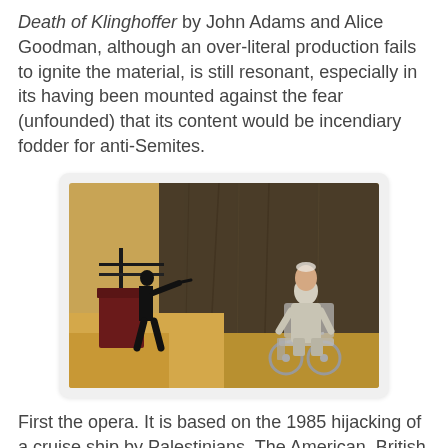Death of Klinghoffer by John Adams and Alice Goodman, although an over-literal production fails to ignite the material, is still resonant, especially in its having been mounted against the fear (unfounded) that its content would be incendiary fodder for anti-Semites.
[Figure (photo): A stage production scene: a silhouetted figure on the left pointing a gun, with a railing and furniture prop; on the right, an older man seated in a wheelchair, wearing a light suit, against a dark textured backdrop.]
First the opera. It is based on the 1985 hijacking of a cruise ship by Palestinians. The American, British and Jewish passengers are taken hostage, and a wheelchair-bound Jewish man is murdered. The ship's captain, rather than reporting the killing and trading lives for demands, reports to the authorities that nothing has occurred, forestalling escalation and letting the hijackers go free. It's a tactical